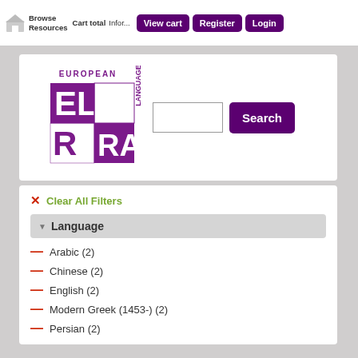Browse Resources  Cart total  Infor...  View cart  Register  Login
[Figure (logo): ELRA European Language Resources Association logo — stylized EL/RA blocks in purple]
Search (input field and Search button)
✕ Clear All Filters
Language
Arabic (2)
Chinese (2)
English (2)
Modern Greek (1453-) (2)
Persian (2)